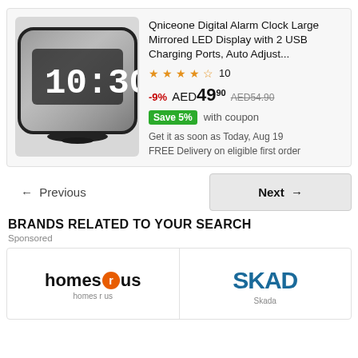[Figure (photo): Qniceone Digital Alarm Clock with mirrored LED display showing 10:30, black rounded rectangular device]
Qniceone Digital Alarm Clock Large Mirrored LED Display with 2 USB Charging Ports, Auto Adjust...
★★★★☆ 10
-9% AED49.90 AED54.90 Save 5% with coupon
Get it as soon as Today, Aug 19
FREE Delivery on eligible first order
← Previous
Next →
BRANDS RELATED TO YOUR SEARCH
Sponsored
[Figure (logo): homes r us logo with orange circle R]
[Figure (logo): SKAD logo in dark blue bold text]